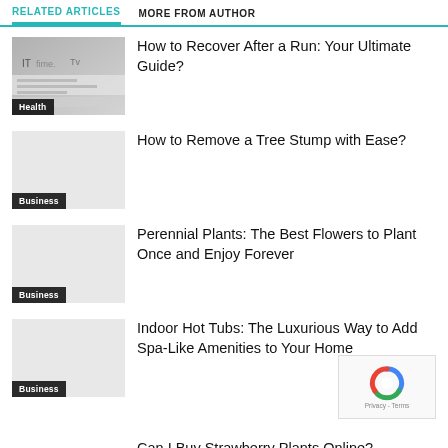RELATED ARTICLES   MORE FROM AUTHOR
How to Recover After a Run: Your Ultimate Guide?
How to Remove a Tree Stump with Ease?
Perennial Plants: The Best Flowers to Plant Once and Enjoy Forever
Indoor Hot Tubs: The Luxurious Way to Add Spa-Like Amenities to Your Home
Can I Buy Strawberry Plants Online?